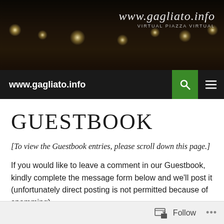[Figure (photo): Night panoramic photo of a hillside town (Gagliato) with street lights glowing, dark sky background. URL overlay: www.gagliato.info with subtitle 'virtual PIAZZA virtual']
www.gagliato.info
GUESTBOOK
[To view the Guestbook entries, please scroll down this page.]
If you would like to leave a comment in our Guestbook, kindly complete the message form below and we'll post it (unfortunately direct posting is not permitted because of spamming).
Follow ...